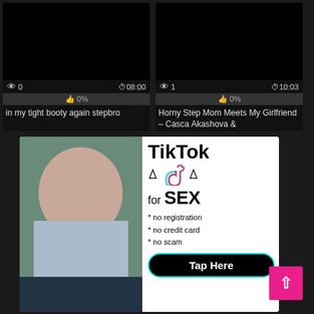[Figure (screenshot): Video thumbnail - dark/black screen with view count 0 and duration 08:00]
👁 0   ⏱08:00
👍 0%
in my tight booty again stepbro
[Figure (screenshot): Video thumbnail - dark/black screen with view count 1 and duration 10:03]
👁 1   ⏱10:03
👍 0%
Horny Step Mom Meets My Girlfriend – Casca Akashova &
[Figure (advertisement): TikTok for SEX advertisement with woman photo on left and text on right: TikTok, for SEX, * no registration, * no credit card, * no scam, Tap Here button]